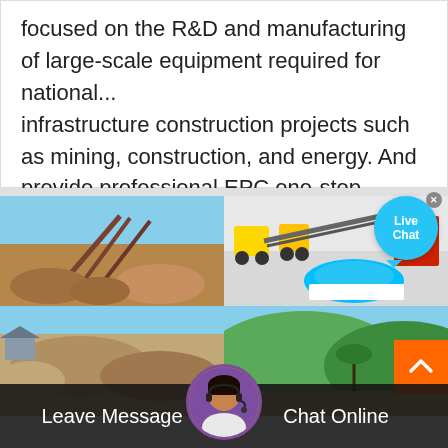focused on the R&D and manufacturing of large-scale equipment required for national... infrastructure construction projects such as mining, construction, and energy. And provide professional EPC one-stop solutions and mature
[Figure (photo): 2x2 grid of mining and construction equipment photos: top-left shows outdoor mining conveyor belt structure; top-right shows indoor equipment including crushers and conveyor with blue aggregate pile; bottom-left shows quarry pit/stockpile site; bottom-right shows green hillside landscape.]
Live Chat
Leave Message
Chat Online